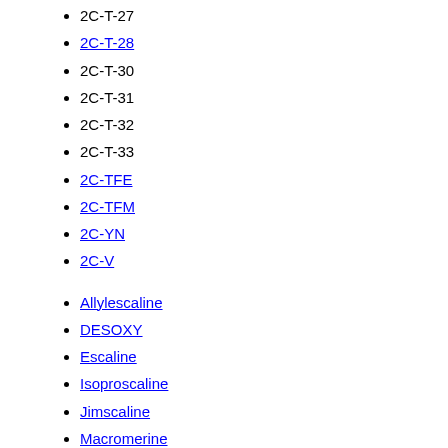2C-T-27
2C-T-28
2C-T-30
2C-T-31
2C-T-32
2C-T-33
2C-TFE
2C-TFM
2C-YN
2C-V
Allylescaline
DESOXY
Escaline
Isoproscaline
Jimscaline
Macromerine
MEPEA
Mescaline
Metaescaline
Methallylescaline
Proscaline
Psi-2C-T-4
TCB-2